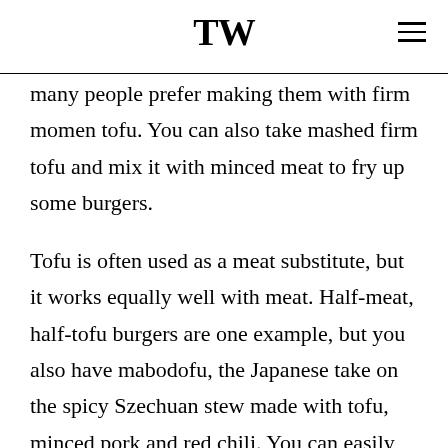TW
many people prefer making them with firm momen tofu. You can also take mashed firm tofu and mix it with minced meat to fry up some burgers.
Tofu is often used as a meat substitute, but it works equally well with meat. Half-meat, half-tofu burgers are one example, but you also have mabodofu, the Japanese take on the spicy Szechuan stew made with tofu, minced pork and red chili. You can easily find boil-in-the-bag mabodofu in the “ready-to-eat” food section at